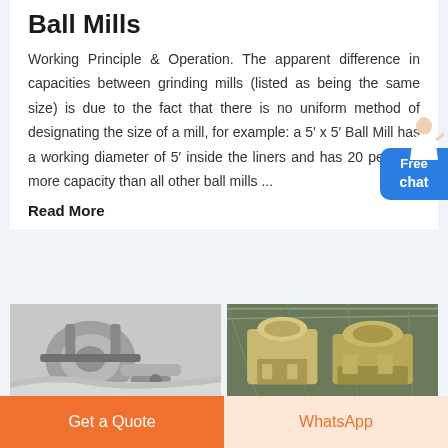Ball Mills
Working Principle & Operation. The apparent difference in capacities between grinding mills (listed as being the same size) is due to the fact that there is no uniform method of designating the size of a mill, for example: a 5’ x 5’ Ball Mill has a working diameter of 5’ inside the liners and has 20 per cent more capacity than all other ball mills ...
Read More
[Figure (photo): Grayscale photo of industrial ball mill machinery parts]
[Figure (photo): Color photo of large industrial grinding mill equipment inside a factory building]